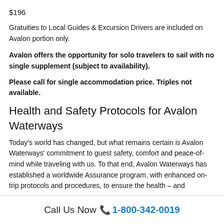$196
Gratuities to Local Guides & Excursion Drivers are included on Avalon portion only.
Avalon offers the opportunity for solo travelers to sail with no single supplement (subject to availability).
Please call for single accommodation price. Triples not available.
Health and Safety Protocols for Avalon Waterways
Today's world has changed, but what remains certain is Avalon Waterways' commitment to guest safety, comfort and peace-of-mind while traveling with us. To that end, Avalon Waterways has established a worldwide Assurance program, with enhanced on-trip protocols and procedures, to ensure the health – and
Call Us Now 📞 1-800-342-0019